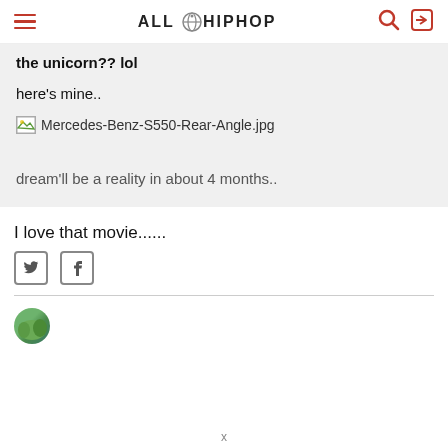ALL HIP HOP
the unicorn?? lol
here's mine..
[Figure (other): Broken image placeholder with filename Mercedes-Benz-S550-Rear-Angle.jpg]
dream'll be a reality in about 4 months..
I love that movie......
[Figure (other): Twitter and Facebook social share icons]
[Figure (other): Partial avatar/profile image at bottom]